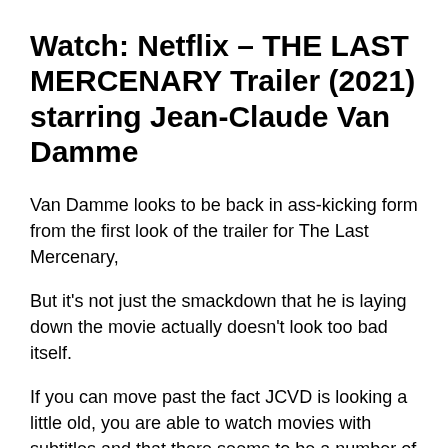Watch: Netflix – THE LAST MERCENARY Trailer (2021) starring Jean-Claude Van Damme
Van Damme looks to be back in ass-kicking form from the first look of the trailer for The Last Mercenary,
But it's not just the smackdown that he is laying down the movie actually doesn't look too bad itself.
If you can move past the fact JCVD is looking a little old, you are able to watch movies with subtitles and that there seems to be a number of costume changes and bad wigs – the movie looks to have action jam packed in, car chases and